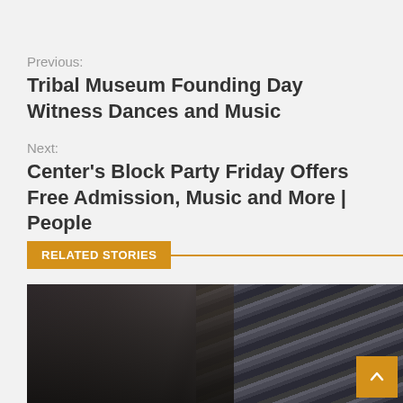Previous:
Tribal Museum Founding Day Witness Dances and Music
Next:
Center's Block Party Friday Offers Free Admission, Music and More | People
RELATED STORIES
[Figure (photo): A woman with blonde hair wearing a black top and necklace, photographed in front of a striped metallic background.]